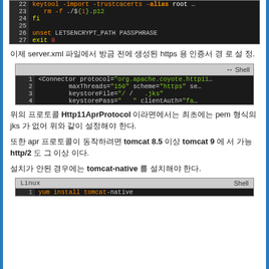[Figure (screenshot): Code block showing shell script lines 22-27 on dark background. Line 22: keytool -import -trustcacerts -alias root. Line 23: rm -f ./${1}.p12. Line 24: fi. Line 25: (empty). Line 26: unset LETSENCRYPT_PATH PASSPHRASE. Line 27: exit 0]
이제 server.xml 파일에서 방금 전에 생성된 https 용 인증서 경 로 설 정.
[Figure (screenshot): Code block showing XML Shell snippet lines 1-4. Line 1: <Connector protocol="org.apache.coyote.http11. Line 2: maxThreads="150" scheme="https" se. Line 3: keystoreFile="/ / .jks". Line 4: keystorePass=" " clientAuth="fa]
위의 프로토콜 Http11AprProtocol 이라면에서는 최초에는 pem 형식의 jks 가 없어 위와 같이 설정해야 한다.
또한 apr 프로토콜이 동작하려면 tomcat 8.5 이상 tomcat 9 에 서 가능 http/2 도 그 이상 이다.
설치가 안된 경우에는 tomcat-native 를 설치해야 한다.
[Figure (screenshot): Code block with Linux Shell label. Line 1: yum install tomcat-native]